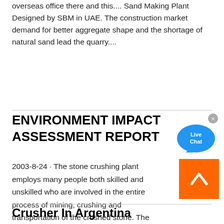overseas office there and this.... Sand Making Plant Designed by SBM in UAE. The construction market demand for better aggregate shape and the shortage of natural sand lead the quarry....
ENVIRONMENT IMPACT ASSESSMENT REPORT
2003-8-24 · The stone crushing plant employs many people both skilled and unskilled who are involved in the entire process of mining, crushing and transportation of the crushed stone. The plant"s ideal location is supposed to be near growing towns or cities so as to supply the demand for the stone and at the same time near the source to the
Crusher In Argentina